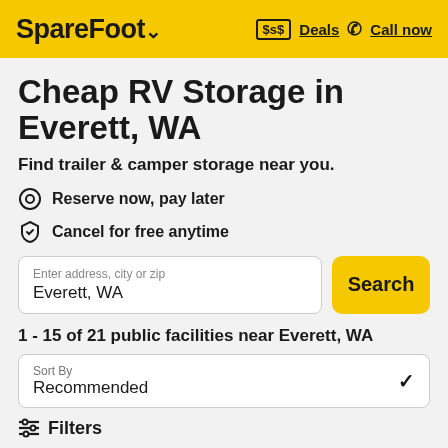SpareFoot  Deals  Call now
Cheap RV Storage in Everett, WA
Find trailer & camper storage near you.
Reserve now, pay later
Cancel for free anytime
Enter address, city or zip
Everett, WA
Search
1 - 15 of 21 public facilities near Everett, WA
Sort By
Recommended
Filters